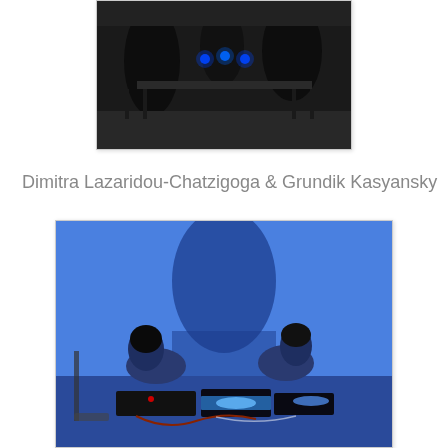[Figure (photo): Dark indoor performance scene, people seated around a table with blue LED lights glowing on a device in the center]
Dimitra Lazaridou-Chatzigoga & Grundik Kasyansky
[Figure (photo): Two performers on the floor against a blue-lit background with projected shadow, surrounded by electronic equipment and cables with blue LED lighting]